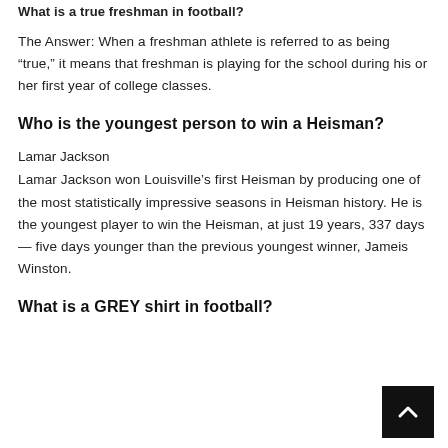What is a true freshman in football?
The Answer: When a freshman athlete is referred to as being “true,” it means that freshman is playing for the school during his or her first year of college classes.
Who is the youngest person to win a Heisman?
Lamar Jackson
Lamar Jackson won Louisville’s first Heisman by producing one of the most statistically impressive seasons in Heisman history. He is the youngest player to win the Heisman, at just 19 years, 337 days — five days younger than the previous youngest winner, Jameis Winston.
What is a GREY shirt in football?